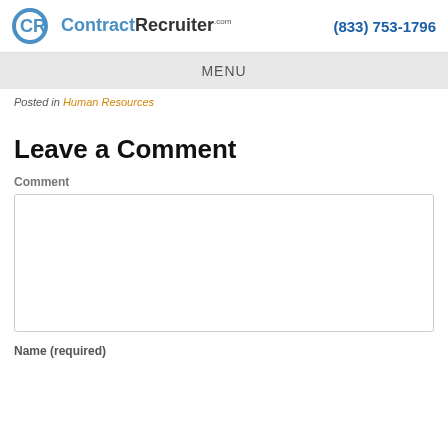[Figure (logo): ContractRecruiter.com logo with CR icon and company name]
(833) 753-1796
MENU
Posted in Human Resources
Leave a Comment
Comment
[Figure (other): Comment text area input box]
Name (required)